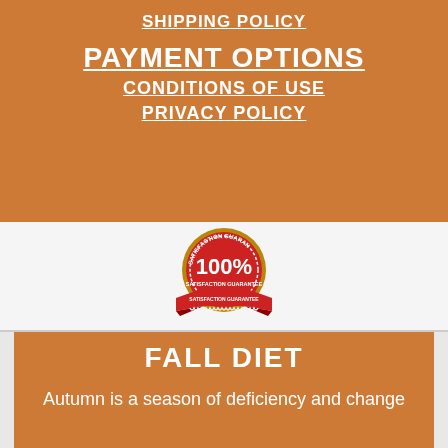SHIPPING POLICY
PAYMENT OPTIONS
CONDITIONS OF USE
PRIVACY POLICY
[Figure (illustration): 100% Satisfaction Guarantee badge/seal in red and gold with ribbon]
FALL DIET
Autumn is a season of deficiency and change